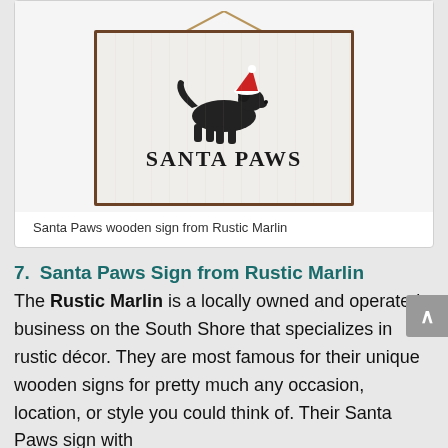[Figure (photo): A wooden 'Santa Paws' sign hanging from a rope. The sign features a black dog silhouette wearing a red Santa hat, with the text 'SANTA PAWS' in bold serif font below it.]
Santa Paws wooden sign from Rustic Marlin
7.    Santa Paws Sign from Rustic Marlin
The Rustic Marlin is a locally owned and operated business on the South Shore that specializes in rustic décor. They are most famous for their unique wooden signs for pretty much any occasion, location, or style you could think of. Their Santa Paws sign with